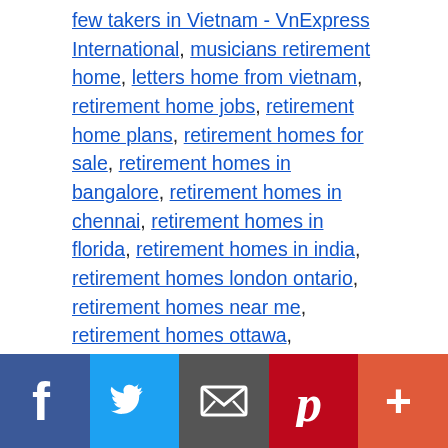few takers in Vietnam - VnExpress International, musicians retirement home, letters home from vietnam, retirement home jobs, retirement home plans, retirement homes for sale, retirement homes in bangalore, retirement homes in chennai, retirement homes in florida, retirement homes in india, retirement homes london ontario, retirement homes near me, retirement homes ottawa, retirement homes regulatory authority, retirement homes to rent, retirement homes toronto, retire home, retired home, sandalwood retirement home brampton, fountains retirement home, difference between retirement home and nursing home
Breakfast @ Tuoi Tre News –